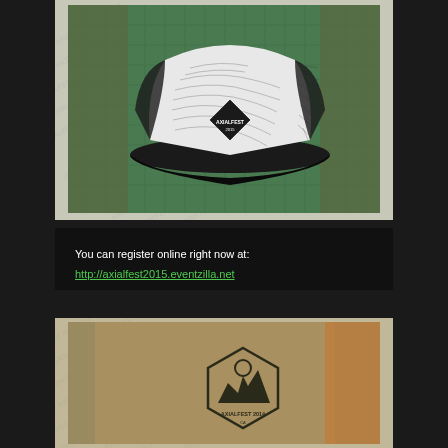[Figure (photo): A trucker-style snapback hat with white front panels featuring topographic map line patterns and a diamond-shaped Axialfest logo patch, with black mesh back panels and black brim, displayed on a green cutting mat background with camouflage visible behind it. The image has a watermark pattern overlay.]
You can register online right now at:
http://axialfest2015.eventzilla.net
[Figure (photo): A khaki/tan colored t-shirt laid flat displaying an Axialfest 2014 hexagonal logo design with mountain scenery. An orange object is partially visible at the right edge. The image has a watermark pattern overlay.]